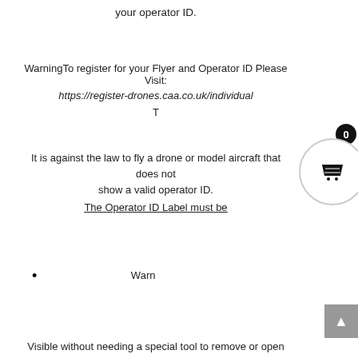your operator ID.
WarningTo register for your Flyer and Operator ID Please Visit:
https://register-drones.caa.co.uk/individual
T
It is against the law to fly a drone or model aircraft that does not show a valid operator ID.
The Operator ID Label must be
Warn
Visible without needing a special tool to remove or open part of your aircraft, Secure and safe from damage,
On the main body of the aircraft and in an area that is easy to read